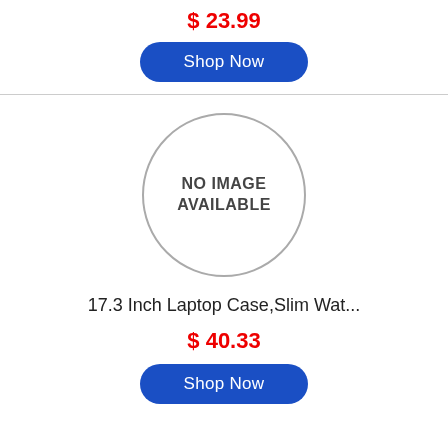$ 23.99
Shop Now
[Figure (illustration): Circular placeholder with text NO IMAGE AVAILABLE]
17.3 Inch Laptop Case,Slim Wat...
$ 40.33
Shop Now